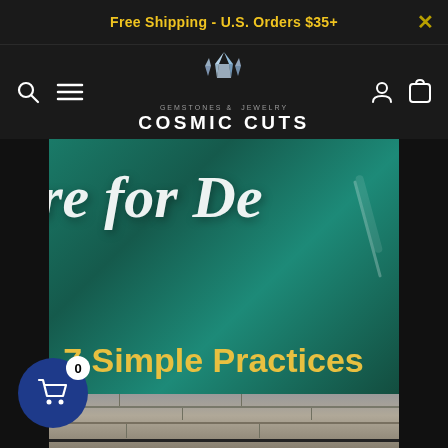Free Shipping - U.S. Orders $35+
[Figure (logo): Cosmic Cuts gemstones and jewelry logo with crystal graphic, navigation icons for search, menu, account, and cart]
[Figure (photo): Blog article thumbnail on teal background showing script text 'for De' (partially visible) and subtitle '7 Simple Practices' in gold, with brick texture at bottom]